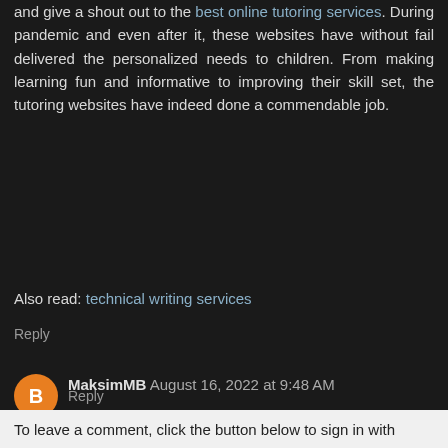and give a shout out to the best online tutoring services. During pandemic and even after it, these websites have without fail delivered the personalized needs to children. From making learning fun and informative to improving their skill set, the tutoring websites have indeed done a commendable job.
Also read: technical writing services
Reply
MaksimMB August 16, 2022 at 9:48 AM
Hello to all! Thank you for choosing to join my blog! In today's world, where artificial intelligence is developing at an incredible speed, it is simply unrealistic to ignore the need for its appearance in enterprises and companies. I think you should familiarze yourself with this article about image annotation.
Reply
To leave a comment, click the button below to sign in with